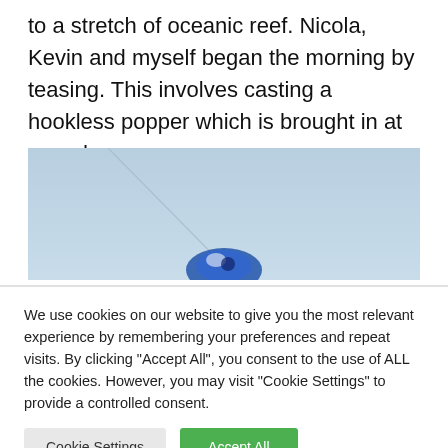to a stretch of oceanic reef. Nicola, Kevin and myself began the morning by teasing. This involves casting a hookless popper which is brought in at speed
[Figure (photo): A blue fishing lure or popper photographed against a light blue sky background]
We use cookies on our website to give you the most relevant experience by remembering your preferences and repeat visits. By clicking "Accept All", you consent to the use of ALL the cookies. However, you may visit "Cookie Settings" to provide a controlled consent.
Cookie Settings | Accept All